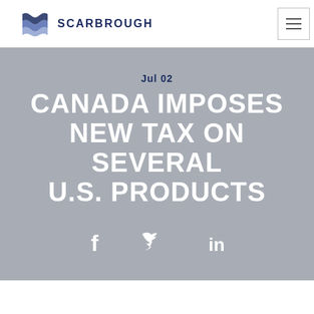SCARBROUGH
Jul 02
CANADA IMPOSES NEW TAX ON SEVERAL U.S. PRODUCTS
[Figure (infographic): Social media share icons: Facebook (f), Twitter (bird), LinkedIn (in)]